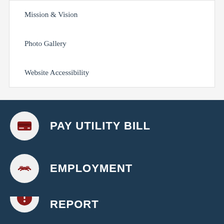Mission & Vision
Photo Gallery
Website Accessibility
PAY UTILITY BILL
EMPLOYMENT
REPORT